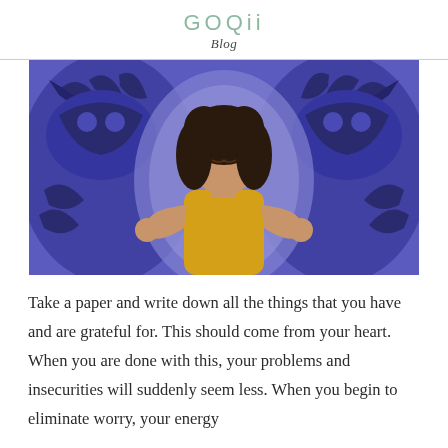GOQii
Blog
[Figure (photo): A woman with curly hair wearing a yellow top meditating with eyes closed and fingers in mudra gesture, surrounded by dark monster silhouettes on a purple background]
Take a paper and write down all the things that you have and are grateful for. This should come from your heart. When you are done with this, your problems and insecurities will suddenly seem less. When you begin to eliminate worry, your energy